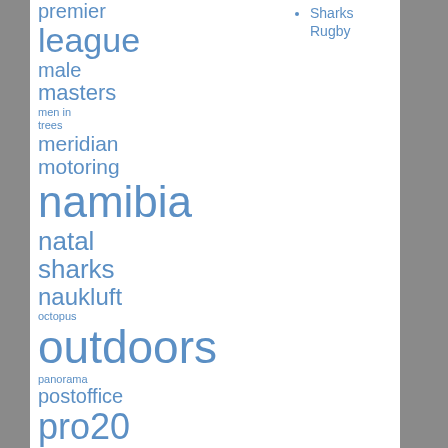premier
league
male
masters
men in trees
meridian
motoring
namibia
natal sharks
naukluft
octopus
outdoors
panorama
postoffice
pro20
rugby
sea
stitch
storm
Sharks Rugby